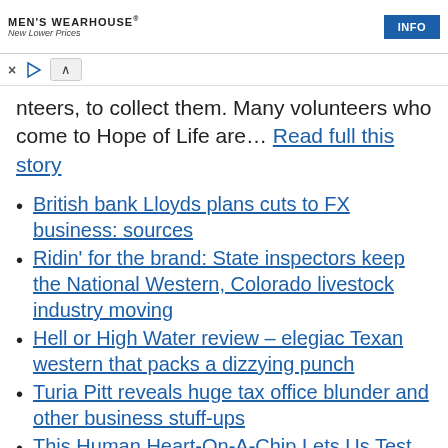[Figure (other): Men's Wearhouse advertisement banner with logo, 'New Lower Prices' tagline, and INFO button]
× ▷ ∧
nteers, to collect them. Many volunteers who come to Hope of Life are… Read full this story
British bank Lloyds plans cuts to FX business: sources
Ridin' for the brand: State inspectors keep the National Western, Colorado livestock industry moving
Hell or High Water review – elegiac Texan western that packs a dizzying punch
Turia Pitt reveals huge tax office blunder and other business stuff-ups
This Human Heart-On-A-Chip Lets Us Test Drugs On Actual Human Tissue, Not Animals